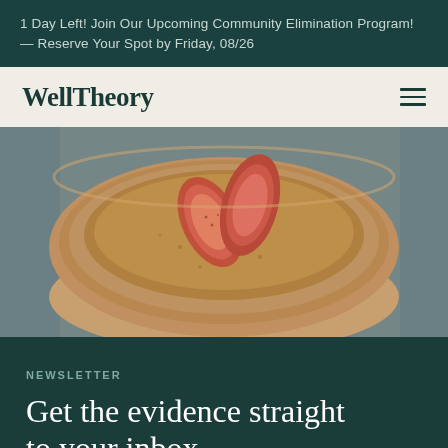1 Day Left! Join Our Upcoming Community Elimination Program! — Reserve Your Spot by Friday, 08/26
WellTheory
[Figure (photo): Overhead view of a rustic ceramic bowl with figs on a dark teal fabric background]
NEWSLETTER
Get the evidence straight to your inbox